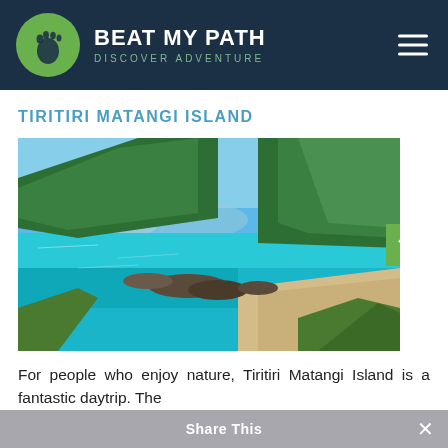BEAT MY PATH - DISCOVER ADVENTURE
TIRITIRI MATANGI ISLAND
[Figure (photo): Aerial coastal view of Tiritiri Matangi Island showing turquoise sea, rocky shoreline, sandy beach, and lush green native forest under a blue sky]
For people who enjoy nature, Tiritiri Matangi Island is a fantastic daytrip. The
Share This